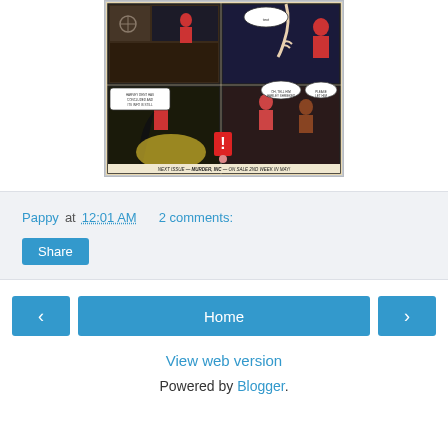[Figure (illustration): Comic book page panels showing action scenes with characters, speech bubbles, and text at bottom reading 'NEXT ISSUE — MURDER, INC — ON SALE 2ND WEEK IN MAY!']
Pappy at 12:01 AM   2 comments:
Share
‹
Home
›
View web version
Powered by Blogger.